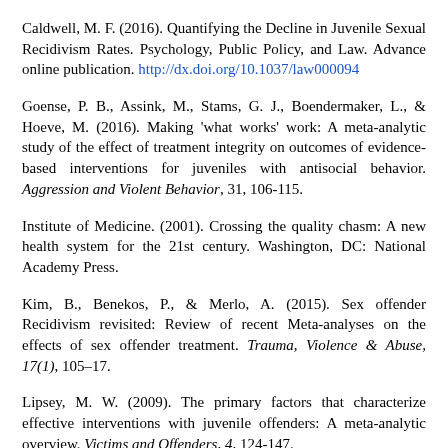Caldwell, M. F. (2016). Quantifying the Decline in Juvenile Sexual Recidivism Rates. Psychology, Public Policy, and Law. Advance online publication. http://dx.doi.org/10.1037/law000094
Goense, P. B., Assink, M., Stams, G. J., Boendermaker, L., & Hoeve, M. (2016). Making 'what works' work: A meta-analytic study of the effect of treatment integrity on outcomes of evidence-based interventions for juveniles with antisocial behavior. Aggression and Violent Behavior, 31, 106-115.
Institute of Medicine. (2001). Crossing the quality chasm: A new health system for the 21st century. Washington, DC: National Academy Press.
Kim, B., Benekos, P., & Merlo, A. (2015). Sex offender Recidivism revisited: Review of recent Meta-analyses on the effects of sex offender treatment. Trauma, Violence & Abuse, 17(1), 105–17.
Lipsey, M. W. (2009). The primary factors that characterize effective interventions with juvenile offenders: A meta-analytic overview. Victims and Offenders, 4, 124-147.
Ralph, N. (2012). Evidence-based practice with juveniles. ATSA